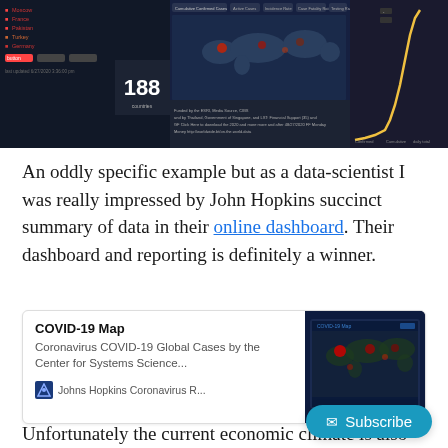[Figure (screenshot): Screenshot of the Johns Hopkins COVID-19 dashboard showing a dark-themed map interface with country case counts, tab navigation, a world map, and an exponential growth curve in orange/yellow.]
An oddly specific example but as a data-scientist I was really impressed by John Hopkins succinct summary of data in their online dashboard. Their dashboard and reporting is definitely a winner.
[Figure (screenshot): Link card showing 'COVID-19 Map' title, description 'Coronavirus COVID-19 Global Cases by the Center for Systems Science...', the Johns Hopkins Coronavirus Resource Center source label with logo, and a thumbnail image of a dark world map with red hotspots.]
Unfortunately the current economic climate is also